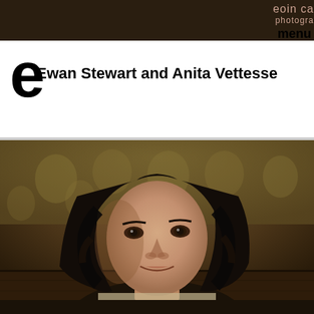eoin ca photography
menu
Ewan Stewart and Anita Vettesse
[Figure (photo): Portrait photograph of a woman with dark curly hair, looking directly at the camera, with an ornate wallpaper and wooden paneling in the background.]